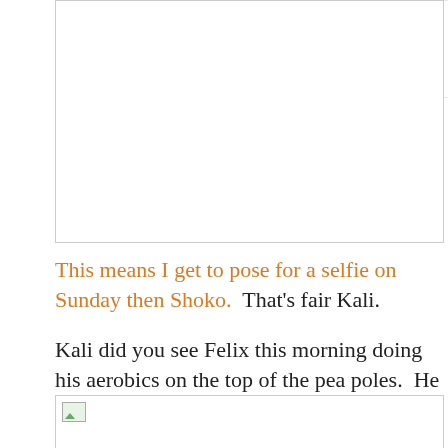[Figure (photo): Top image box placeholder (partial, top of page, mostly white space)]
This means I get to pose for a selfie on Sunday then Shoko.  That's fair Kali.
Kali did you see Felix this morning doing his aerobics on the top of the pea poles.  He was at his best purring out a little tune.  MOL, no I missed it, bet it was hilarious.  Mom got a few pictures of him.
[Figure (photo): Bottom image box placeholder (partial, bottom of page, mostly white space)]